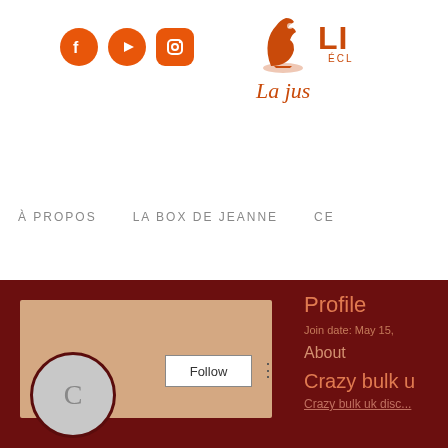[Figure (logo): Social media icons: Facebook, YouTube, Instagram in orange circles]
[Figure (logo): Chess knight logo with text LI, ECL subtitle, and cursive tagline La jus...]
À PROPOS   LA BOX DE JEANNE   CE...
[Figure (screenshot): Dark red profile page with profile card showing avatar C, Follow button, and dots menu]
Profile
Join date: May 15,
About
Crazy bulk u
Crazy bulk uk disc...